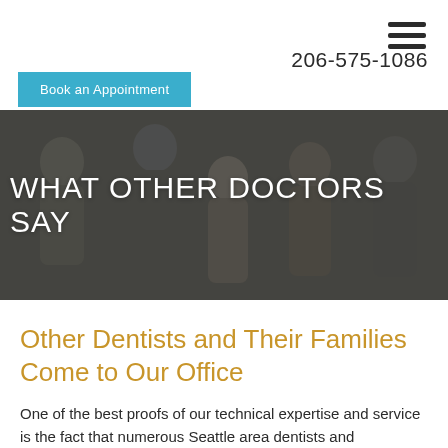206-575-1086
Book an Appointment
[Figure (photo): Group of smiling people (diverse ages and ethnicities) posing together against a neutral background, used as hero banner image with dark overlay]
WHAT OTHER DOCTORS SAY
Other Dentists and Their Families Come to Our Office
One of the best proofs of our technical expertise and service is the fact that numerous Seattle area dentists and